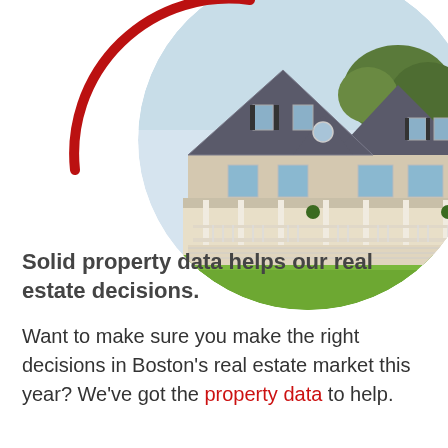[Figure (photo): Circular-cropped photo of a large New England style house with cedar shingle siding, multiple dormer windows, wraparound porch with white railings, and lush green lawn in front. A dark red circular arc graphic overlaps the left side of the photo.]
Solid property data helps our real estate decisions.
Want to make sure you make the right decisions in Boston's real estate market this year? We've got the property data to help.